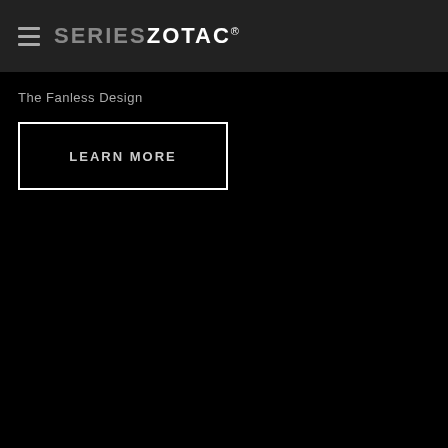SERIES ZOTAC®
The Fanless Design
LEARN MORE